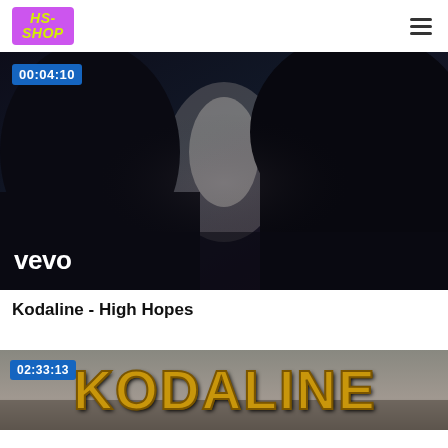HS-SHOP
[Figure (screenshot): Video thumbnail showing two silhouetted figures close together about to kiss, with vevo logo watermark in bottom left and time badge 00:04:10 in top left]
Kodaline - High Hopes
[Figure (screenshot): Video thumbnail showing large 3D styled golden text KODALINE on a sandy/desert background with time badge 02:33:13]